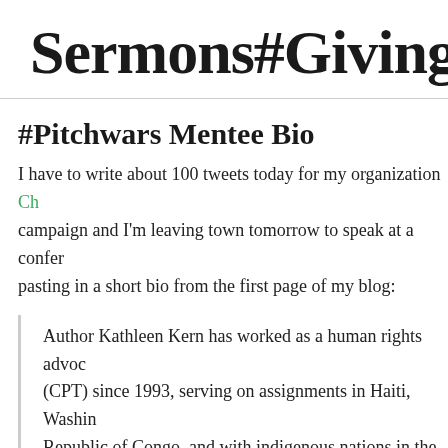Sermons#GivingTues
#Pitchwars Mentee Bio
I have to write about 100 tweets today for my organization Ch[ristian Peacemaker Teams] campaign and I'm leaving town tomorrow to speak at a conference, so I'm pasting in a short bio from the first page of my blog:
Author Kathleen Kern has worked as a human rights advocate for CPT (Christian Peacemaker Teams) since 1993, serving on assignments in Haiti, Washington D.C., Democratic Republic of Congo, and with indigenous nations in the U.S. She is the author of CPT– In Harm's Way: A History of Christian Peacemaker Teams and Getting in the Way: Stories from Christian Peacemaker Teams in the West Bank, 1995-2005 (Cascade). Her work has appeared in The Christian Century and The Baltimore Sun. Her first novel, Where...